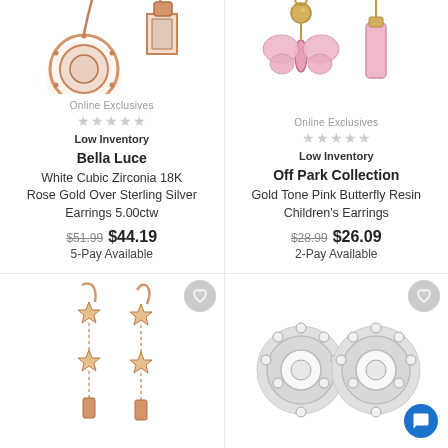[Figure (photo): Rose gold cubic zirconia drop earrings with round and square pendants]
Online Exclusives
★★★★★ (empty stars)
Low Inventory
Bella Luce
White Cubic Zirconia 18K Rose Gold Over Sterling Silver Earrings 5.00ctw
$51.99  $44.19
5-Pay Available
[Figure (photo): Gold tone pink butterfly resin children's drop earrings]
Online Exclusives
★★★★★ (empty stars)
Low Inventory
Off Park Collection
Gold Tone Pink Butterfly Resin Children's Earrings
$28.99  $26.09
2-Pay Available
[Figure (photo): Rose gold star drop chain earrings]
[Figure (photo): Silver round halo stud earrings with cubic zirconia]